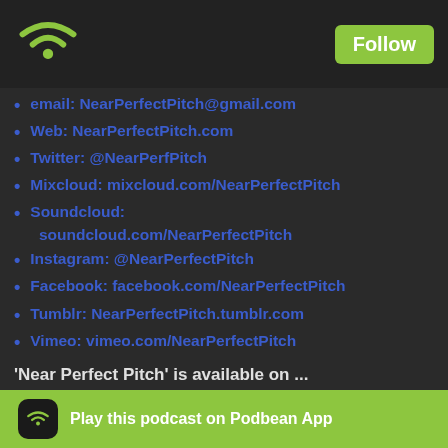Follow
email:  NearPerfectPitch@gmail.com
Web:  NearPerfectPitch.com
Twitter:  @NearPerfPitch
Mixcloud:  mixcloud.com/NearPerfectPitch
Soundcloud:  soundcloud.com/NearPerfectPitch
Instagram:  @NearPerfectPitch
Facebook:  facebook.com/NearPerfectPitch
Tumblr:  NearPerfectPitch.tumblr.com
Vimeo:  vimeo.com/NearPerfectPitch
'Near Perfect Pitch' is available on ...
iTunes
Google Play
Blueberry
Stitcher
TuneIn and links to show notes are a
Play this podcast on Podbean App